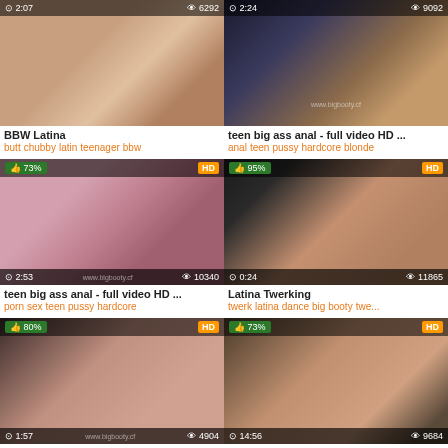[Figure (screenshot): Video thumbnail grid showing adult content video listings with thumbnails, duration, view counts, titles, and tags]
BBW Latina
butt chubby latin teenager bbw
teen big ass anal - full video HD ...
anal teen pussy hardcore blonde
teen big ass anal - full video HD ...
porn sex teen pussy hardcore
Latina Twerking
twerk latina dance big booty twe...
big ass teen - full video HD on : w...
anal teen hardcore doggystyle a...
Latina loves daddy's big dick
big booty big dick latina latina te...